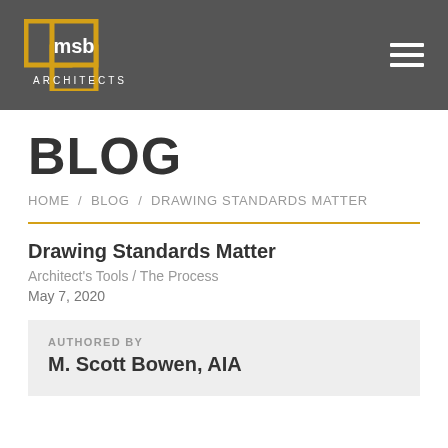msb ARCHITECTS
BLOG
HOME / BLOG / DRAWING STANDARDS MATTER
Drawing Standards Matter
Architect's Tools / The Process
May 7, 2020
AUTHORED BY
M. Scott Bowen, AIA